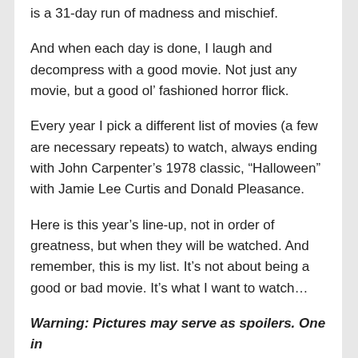is a 31-day run of madness and mischief.
And when each day is done, I laugh and decompress with a good movie. Not just any movie, but a good ol’ fashioned horror flick.
Every year I pick a different list of movies (a few are necessary repeats) to watch, always ending with John Carpenter’s 1978 classic, “Halloween” with Jamie Lee Curtis and Donald Pleasance.
Here is this year’s line-up, not in order of greatness, but when they will be watched. And remember, this is my list. It’s not about being a good or bad movie. It’s what I want to watch…
Warning: Pictures may serve as spoilers. One in